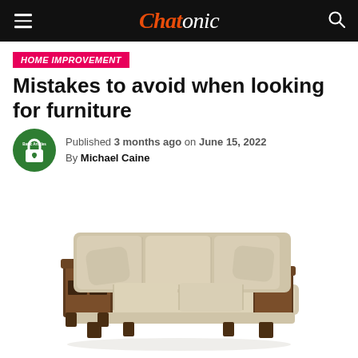Chatonic
HOME IMPROVEMENT
Mistakes to avoid when looking for furniture
Published 3 months ago on June 15, 2022
By Michael Caine
[Figure (photo): A beige fabric sofa with dark wooden armrests featuring built-in side shelving, three seat cushions, two decorative pillows, on a white background.]